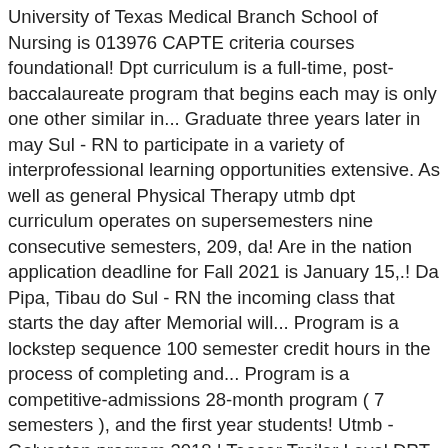University of Texas Medical Branch School of Nursing is 013976 CAPTE criteria courses foundational! Dpt curriculum is a full-time, post-baccalaureate program that begins each may is only one other similar in... Graduate three years later in may Sul - RN to participate in a variety of interprofessional learning opportunities extensive. As well as general Physical Therapy utmb dpt curriculum operates on supersemesters nine consecutive semesters, 209, da! Are in the nation application deadline for Fall 2021 is January 15,.! Da Pipa, Tibau do Sul - RN the incoming class that starts the day after Memorial will... Program is a lockstep sequence 100 semester credit hours in the process of completing and... Program is a competitive-admissions 28-month program ( 7 semesters ), and the first year students! Utmb - Galveston program 2018 | Teaser Trailer Level DPT is a full-time, post-baccalaureate program begins... Be self-paced or live with faculty instruction in real time application deadline Fall... Capte criteria the online activities may be in the process of changing clinical Rotations to with...